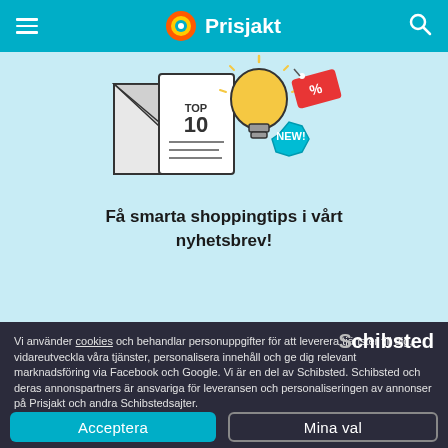Prisjakt
[Figure (illustration): Illustration of an envelope, a document with 'TOP 10', a lightbulb, a 'NEW!' badge, and a percent price tag]
Få smarta shoppingtips i vårt nyhetsbrev!
Vi använder cookies och behandlar personuppgifter för att leverera tjänster till dig, vidareutveckla våra tjänster, personalisera innehåll och ge dig relevant marknadsföring via Facebook och Google. Vi är en del av Schibsted. Schibsted och deras annonspartners är ansvariga för leveransen och personaliseringen av annonser på Prisjakt och andra Schibstedsajter.
Hur din mejladress används
Acceptera
Mina val